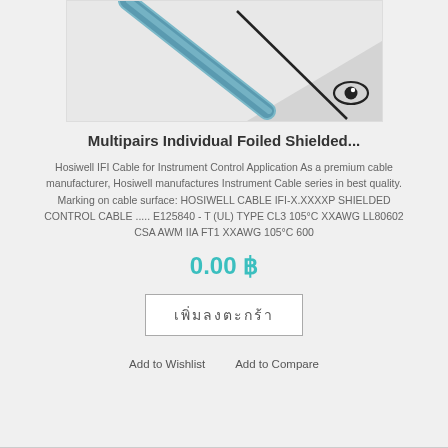[Figure (photo): Product photo of Multipairs Individual Foiled Shielded cable, showing a cable against a light grey background with a watermark eye icon in the bottom right corner.]
Multipairs Individual Foiled Shielded...
Hosiwell IFI Cable for Instrument Control Application As a premium cable manufacturer, Hosiwell manufactures Instrument Cable series in best quality. Marking on cable surface: HOSIWELL CABLE IFI-X.XXXXP SHIELDED CONTROL CABLE ..... E125840 - T (UL) TYPE CL3 105°C XXAWG LL80602 CSA AWM IIA FT1 XXAWG 105°C 600
0.00 ฿
เพิ่มลงตะกร้า
Add to Wishlist   Add to Compare